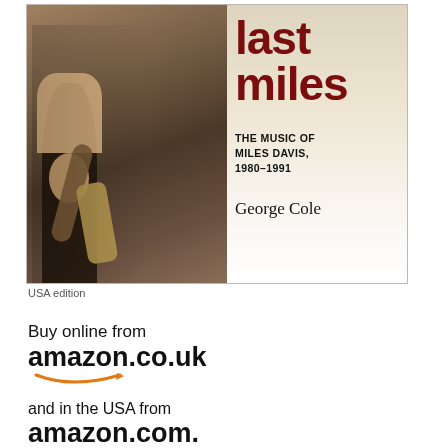[Figure (photo): Book cover for 'Last Miles: The Music of Miles Davis, 1980–1991' by George Cole. Shows a sepia-toned photograph of Miles Davis holding a saxophone, wearing a white tank top. The title 'last miles' appears in large dark red text. Subtitle reads 'THE MUSIC OF MILES DAVIS, 1980–1991'. Author name 'George Cole' in serif font.]
USA edition
Buy online from amazon.co.uk
and in the USA from amazon.com.